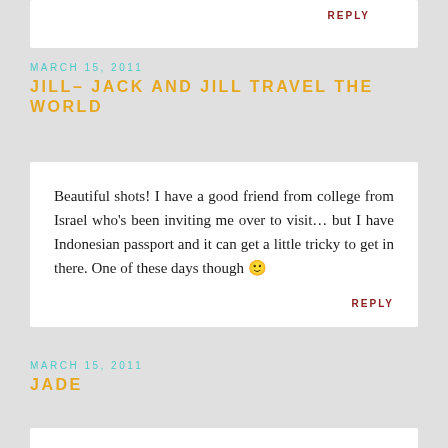REPLY
MARCH 15, 2011
JILL- JACK AND JILL TRAVEL THE WORLD
Beautiful shots! I have a good friend from college from Israel who's been inviting me over to visit... but I have Indonesian passport and it can get a little tricky to get in there. One of these days though 🙂
REPLY
MARCH 15, 2011
JADE